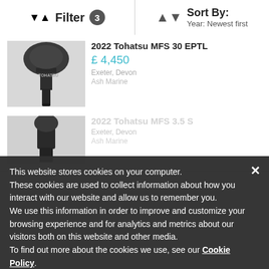Filter 3   Sort By: Year: Newest first
2022 Tohatsu MFS 30 EPTL
£ 4,450
Exeter, Devon
Ash Marine
This website stores cookies on your computer. These cookies are used to collect information about how you interact with our website and allow us to remember you. We use this information in order to improve and customize your browsing experience and for analytics and metrics about our visitors both on this website and other media. To find out more about the cookies we use, see our Cookie Policy.

If you decline, your information won't be tracked when you visit this website. A single cookie will be used in your browser to remember your preference not to be tracked.
2022 Tohatsu MFS 3.5 S
Exeter, Devon
Ash Marine
2022 Tohatsu MFS90 By Ash Marine DEVON MFS90